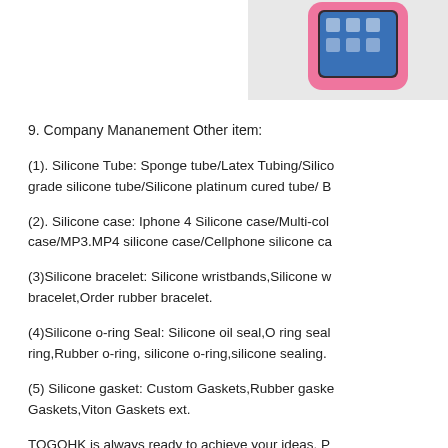[Figure (photo): Pink silicone phone case holding a smartphone, shown at top right corner of the page.]
9. Company Mananement Other item:
(1). Silicone Tube: Sponge tube/Latex Tubing/Silicone grade silicone tube/Silicone platinum cured tube/ B
(2). Silicone case: Iphone 4 Silicone case/Multi-color case/MP3.MP4 silicone case/Cellphone silicone ca
(3)Silicone bracelet: Silicone wristbands,Silicone w bracelet,Order rubber bracelet.
(4)Silicone o-ring Seal: Silicone oil seal,O ring seal ring,Rubber o-ring, silicone o-ring,silicone sealing.
(5) Silicone gasket: Custom Gaskets,Rubber gaskets Gaskets,Viton Gaskets ext.
TOGOHK is always ready to achieve your ideas. P discuss your requirements